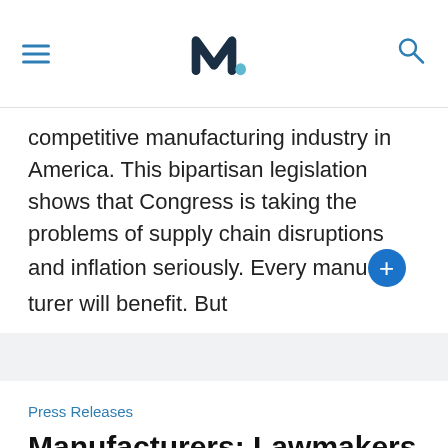[NAM logo, hamburger menu, search icon]
competitive manufacturing industry in America. This bipartisan legislation shows that Congress is taking the problems of supply chain disruptions and inflation seriously. Every manufacturer will benefit. But
Press Releases
Manufacturers: Lawmakers